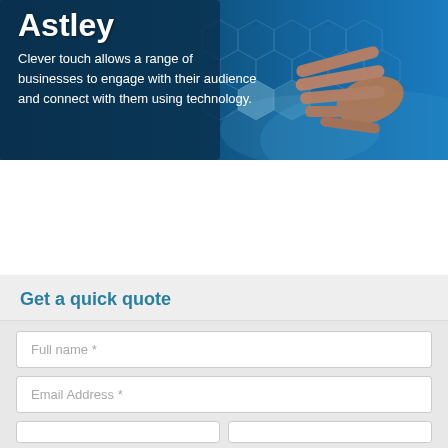[Figure (photo): Hero banner image showing a hand touching a digital hexagonal interface screen, with a dark blue overlay panel on the left containing text about Astley and Clever touch technology.]
Astley
Clever touch allows a range of businesses to engage with their audience and connect with them using technology.
Get a quick quote
Full name *
Email Address *